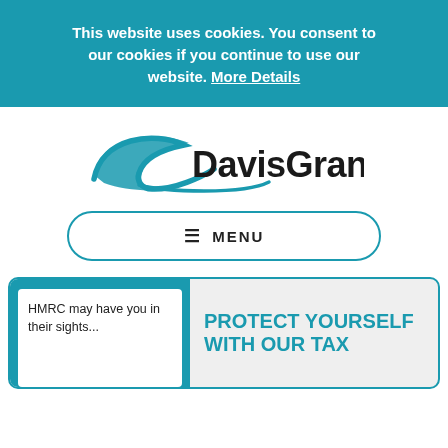This website uses cookies. You consent to our cookies if you continue to use our website. More Details
[Figure (logo): DavisGrant logo — a teal swoosh/arc shape to the left of the bold sans-serif text 'DavisGrant']
≡ MENU
HMRC may have you in their sights...
PROTECT YOURSELF WITH OUR TAX